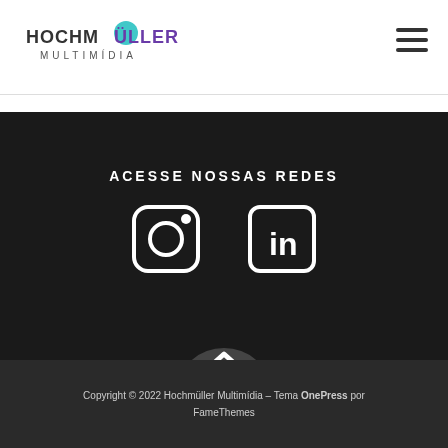[Figure (logo): Hochmüller Multimídia logo with teal/purple circle accent]
[Figure (infographic): Hamburger menu icon (three horizontal lines)]
ACESSE NOSSAS REDES
[Figure (infographic): Instagram and LinkedIn social media icons in white outlines on dark background]
[Figure (infographic): Scroll-to-top button with double chevron up arrow on dark grey semicircle]
Copyright © 2022 Hochmüller Multimídia – Tema OnePress por FameThemes